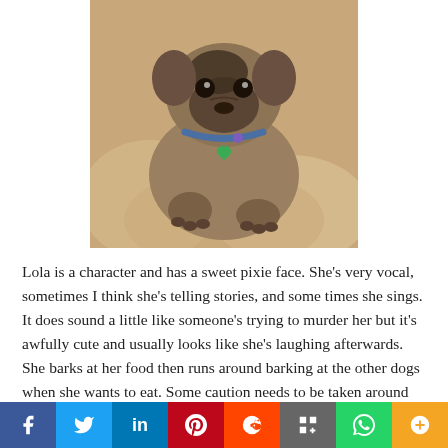[Figure (photo): A pug dog with a blue/purple collar and green heart tag, lying on a beige blanket, looking up at the camera with a sweet expression.]
Lola is a character and has a sweet pixie face. She's very vocal, sometimes I think she's telling stories, and some times she sings. It does sound a little like someone's trying to murder her but it's awfully cute and usually looks like she's laughing afterwards. She barks at her food then runs around barking at the other dogs when she wants to eat. Some caution needs to be taken around dogs who might mistake this for food aggression. She's never nipped at one of my dogs, just barks, and they don't take her very seriously. The big dog woofed back once and Lola was so
[Figure (infographic): Social media sharing bar with buttons for Facebook, Twitter, LinkedIn, Pinterest, Reddit, Mix, WhatsApp, and More.]